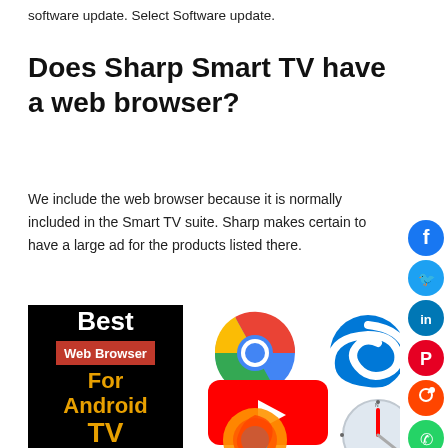software update. Select Software update.
Does Sharp Smart TV have a web browser?
We include the web browser because it is normally included in the Smart TV suite. Sharp makes certain to have a large ad for the products listed there.
[Figure (illustration): Composite image showing a black panel with 'Best Web Browser For Android TV' text alongside browser logos including Chrome, Microsoft Edge, Firefox, Safari, and a YouTube play button overlay. Social media sharing buttons (Facebook, Twitter, LinkedIn, Pinterest, Reddit, WhatsApp, email) appear on the right sidebar.]